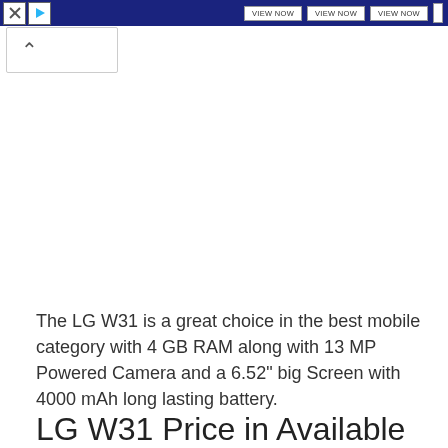VIEW NOW  VIEW NOW  VIEW NOW
The LG W31 is a great choice in the best mobile category with 4 GB RAM along with 13 MP Powered Camera and a 6.52" big Screen with 4000 mAh long lasting battery.
LG W31 Price in Available